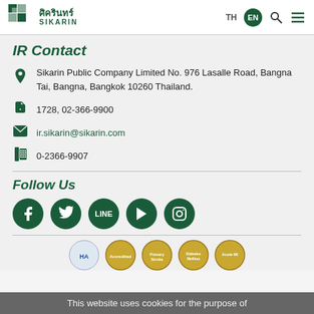Sikarin Hospital - IR Contact page header with logo, TH/EN language toggle, search and menu icons
IR Contact
Sikarin Public Company Limited No. 976 Lasalle Road, Bangna Tai, Bangna, Bangkok 10260 Thailand.
1728, 02-366-9900
ir.sikarin@sikarin.com
0-2366-9907
Follow Us
[Figure (logo): Five social media icons: Facebook, Twitter, LINE, YouTube, Instagram — all dark green circles with white icons]
[Figure (logo): Five certification badges: HA, Accredited, Primary Stroke, Diabetes Mellitus, Acute MI]
This website uses cookies for the purpose of